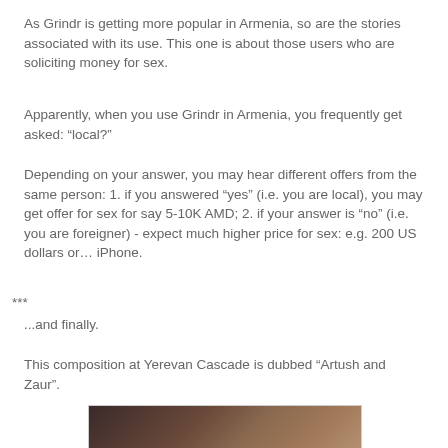As Grindr is getting more popular in Armenia, so are the stories associated with its use. This one is about those users who are soliciting money for sex.
Apparently, when you use Grindr in Armenia, you frequently get asked: “local?”
Depending on your answer, you may hear different offers from the same person: 1. if you answered “yes” (i.e. you are local), you may get offer for sex for say 5-10K AMD; 2. if your answer is “no” (i.e. you are foreigner) - expect much higher price for sex: e.g. 200 US dollars or… iPhone.
***
...and finally.
This composition at Yerevan Cascade is dubbed “Artush and Zaur”.
[Figure (photo): A dark-toned photograph, partially visible at the bottom of the page, showing a reddish-brown gradient composition.]